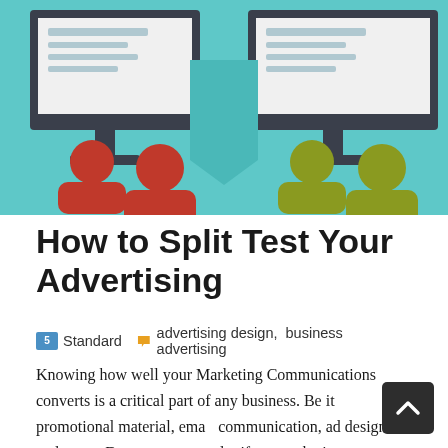[Figure (illustration): A/B split test illustration with teal background showing two computer monitors with document icons, and two groups of people figures — red figures on the left, olive/yellow-green figures on the right.]
How to Split Test Your Advertising
Standard   advertising design,  business advertising
Knowing how well your Marketing Communications converts is a critical part of any business. Be it promotional material, email communication, ad design and so on. Do you ever wonder if the marketing communication you publish is as effective as it [...]